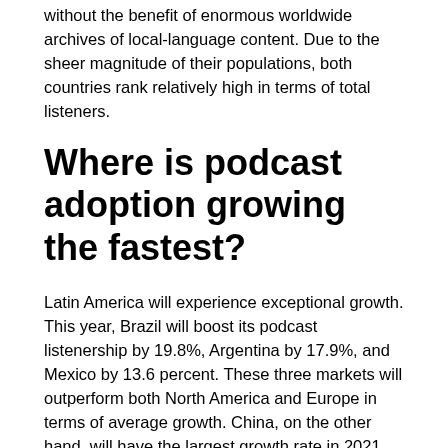without the benefit of enormous worldwide archives of local-language content. Due to the sheer magnitude of their populations, both countries rank relatively high in terms of total listeners.
Where is podcast adoption growing the fastest?
Latin America will experience exceptional growth. This year, Brazil will boost its podcast listenership by 19.8%, Argentina by 17.9%, and Mexico by 13.6 percent. These three markets will outperform both North America and Europe in terms of average growth. China, on the other hand, will have the largest growth rate in 2021 (25.1 percent), owing to its historically low podcast penetration.